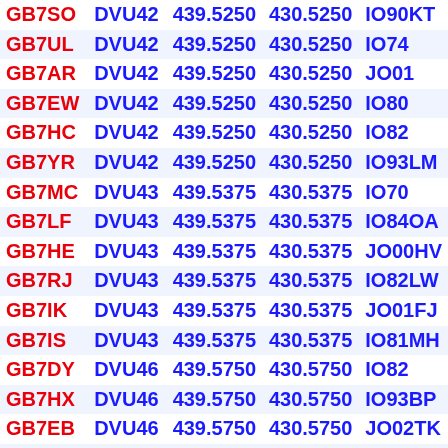| GB7SO | DVU42 | 439.5250 | 430.5250 | IO90KT |
| GB7UL | DVU42 | 439.5250 | 430.5250 | IO74 |
| GB7AR | DVU42 | 439.5250 | 430.5250 | JO01 |
| GB7EW | DVU42 | 439.5250 | 430.5250 | IO80 |
| GB7HC | DVU42 | 439.5250 | 430.5250 | IO82 |
| GB7YR | DVU42 | 439.5250 | 430.5250 | IO93LM |
| GB7MC | DVU43 | 439.5375 | 430.5375 | IO70 |
| GB7LF | DVU43 | 439.5375 | 430.5375 | IO84OA |
| GB7HE | DVU43 | 439.5375 | 430.5375 | JO00HV |
| GB7RJ | DVU43 | 439.5375 | 430.5375 | IO82LW |
| GB7IK | DVU43 | 439.5375 | 430.5375 | JO01FJ |
| GB7IS | DVU43 | 439.5375 | 430.5375 | IO81MH |
| GB7DY | DVU46 | 439.5750 | 430.5750 | IO82 |
| GB7HX | DVU46 | 439.5750 | 430.5750 | IO93BP |
| GB7EB | DVU46 | 439.5750 | 430.5750 | JO02TK |
| GB7YI | DVU46 | 439.5750 | 430.5750 | IO84WX |
| GB7BH | DVU46 | 439.5750 | 430.5750 | IO90WU |
| GB7KP | DVU46 | 439.5750 | 430.5750 | IO74 |
| GB7YJ | DVU47 | 439.5875 | 430.5875 | IO92FH |